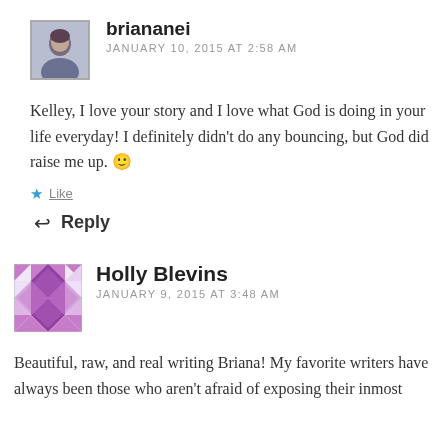[Figure (photo): Avatar photo of briananei, a woman with dark hair, square thumbnail with border]
briananei
JANUARY 10, 2015 AT 2:58 AM
Kelley, I love your story and I love what God is doing in your life everyday! I definitely didn't do any bouncing, but God did raise me up. 🙂
Like
Reply
[Figure (illustration): Holly Blevins avatar — purple and white geometric quilt/diamond pattern]
Holly Blevins
JANUARY 9, 2015 AT 3:48 AM
Beautiful, raw, and real writing Briana! My favorite writers have always been those who aren't afraid of exposing their inmost